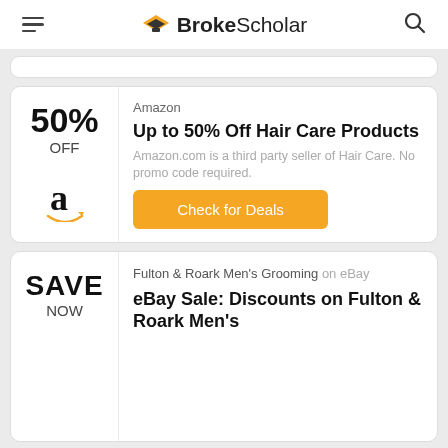BrokeScholar
50% OFF — Amazon — Up to 50% Off Hair Care Products — Amazon.com is a third party seller of Hair Care. No promo code required. — Check for Deals
SAVE NOW — Fulton & Roark Men's Grooming on eBay — eBay Sale: Discounts on Fulton & Roark Men's Grooming